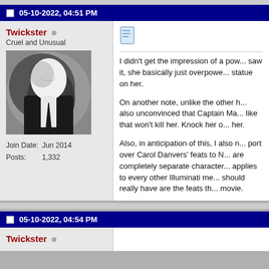05-10-2022, 04:51 PM
Twickster
Cruel and Unusual
[Figure (illustration): Avatar image of Slender Man character in a dark suit with white featureless head]
Join Date: Jun 2014
Posts: 1,332
I didn't get the impression of a pow... saw it, she basically just overpowe... statue on her.

On another note, unlike the other h... also unconvinced that Captain Ma... like that won't kill her. Knock her o... her.

Also, in anticipation of this, I also n... port over Carol Danvers' feats to N... are completely separate character... applies to every other Illuminati me... should really have are the feats th... movie.
05-10-2022, 04:54 PM
Twickster